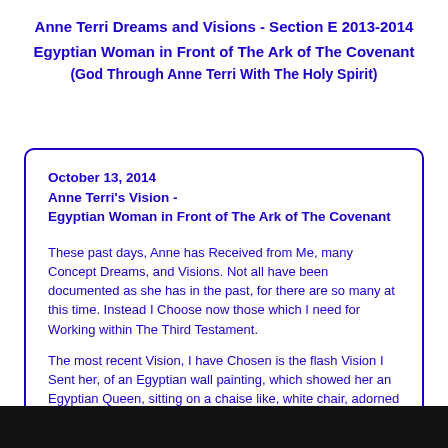Anne Terri Dreams and Visions - Section E 2013-2014
Egyptian Woman in Front of The Ark of The Covenant
(God Through Anne Terri With The Holy Spirit)
October 13, 2014
Anne Terri's Vision -
Egyptian Woman in Front of The Ark of The Covenant
These past days, Anne has Received from Me, many Concept Dreams, and Visions. Not all have been documented as she has in the past, for there are so many at this time. Instead I Choose now those which I need for Working within The Third Testament.
The most recent Vision, I have Chosen is the flash Vision I Sent her, of an Egyptian wall painting, which showed her an Egyptian Queen, sitting on a chaise like, white chair, adorned in gold with the Ark of The Covenant behind her.